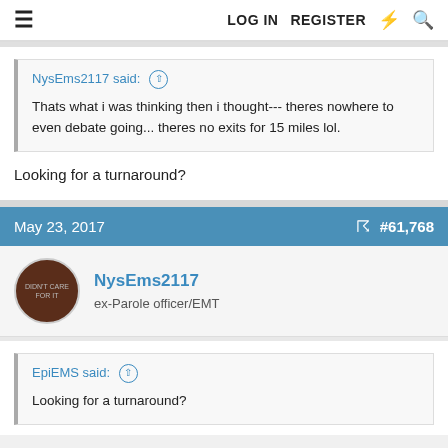≡  LOG IN  REGISTER  ⚡  🔍
NysEms2117 said: ↑

Thats what i was thinking then i thought--- theres nowhere to even debate going... theres no exits for 15 miles lol.
Looking for a turnaround?
May 23, 2017  #61,768
NysEms2117
ex-Parole officer/EMT
EpiEMS said: ↑

Looking for a turnaround?